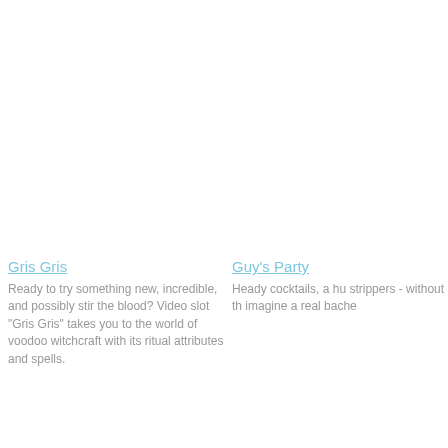Gris Gris
Ready to try something new, incredible, and possibly stir the blood? Video slot "Gris Gris" takes you to the world of voodoo witchcraft with its ritual attributes and spells.
Guy's Party
Heady cocktails, a hu strippers - without th imagine a real bache